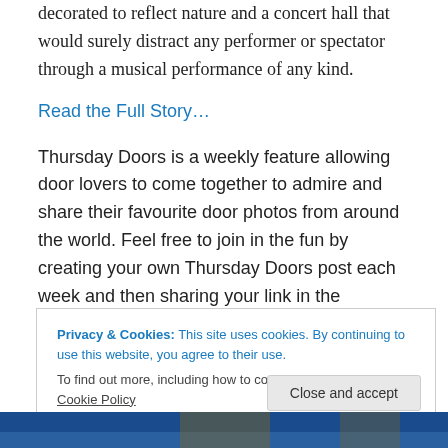decorated to reflect nature and a concert hall that would surely distract any performer or spectator through a musical performance of any kind.
Read the Full Story…
Thursday Doors is a weekly feature allowing door lovers to come together to admire and share their favourite door photos from around the world. Feel free to join in the fun by creating your own Thursday Doors post each week and then sharing your link in the comments' on Norm's site, anytime between Thursday morning and Saturday noon
Privacy & Cookies: This site uses cookies. By continuing to use this website, you agree to their use.
To find out more, including how to control cookies, see here: Cookie Policy
[Figure (photo): Bottom strip showing a dark blue architectural photo]